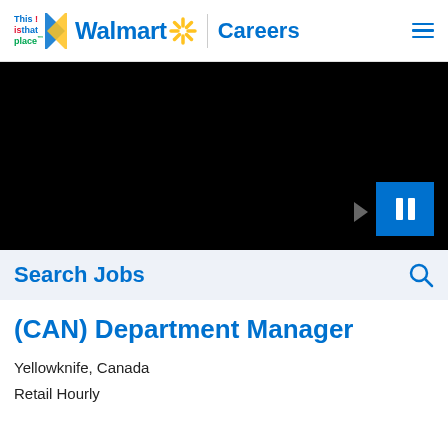This is that place | Walmart Careers
[Figure (screenshot): Black video background with blue pause button and grey play arrow]
Search Jobs
(CAN) Department Manager
Yellowknife, Canada
Retail Hourly